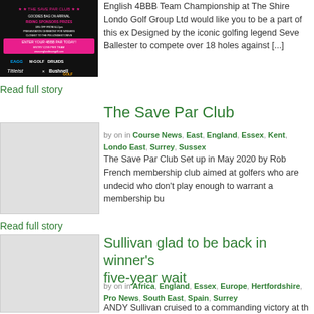[Figure (photo): Golf event advertisement image with sponsor logos including Titleist, Bushnell Golf, EAGG, M-Golf, Druids on dark background with pink promotional banner]
English 4BBB Team Championship at The Shire Londo Golf Group Ltd would like you to be a part of this ex Designed by the iconic golfing legend Seve Ballester to compete over 18 holes against [...]
Read full story
The Save Par Club
by on in Course News, East, England, Essex, Kent, Londo East, Surrey, Sussex
[Figure (photo): Blank/placeholder image for The Save Par Club article]
The Save Par Club Set up in May 2020 by Rob French membership club aimed at golfers who are undecid who don't play enough to warrant a membership bu
Read full story
Sullivan glad to be back in winner's five-year wait
[Figure (photo): Blank/placeholder image for Sullivan article]
by on in Africa, England, Essex, Europe, Hertfordshire, Pro News, South East, Spain, Surrey
ANDY Sullivan cruised to a commanding victory at th